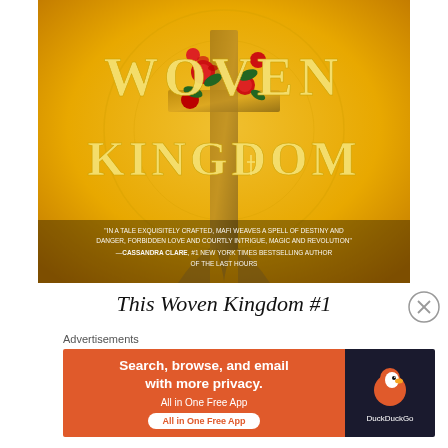[Figure (illustration): Book cover of 'Woven Kingdom' — gold/yellow background with a decorative cross/dagger motif wrapped in red roses and green leaves. Large gold serif text reads 'WOVEN KINGDOM' across the center. At the bottom a blurb reads: 'In a tale exquisitely crafted, Mafi weaves a spell of destiny and danger, forbidden love and courtly intrigue, magic and revolution — Cassandra Clare, #1 New York Times Bestselling Author of The Last Hours']
This Woven Kingdom #1
Advertisements
[Figure (screenshot): DuckDuckGo advertisement banner. Left side: orange background with text 'Search, browse, and email with more privacy. All in One Free App'. Right side: dark background with DuckDuckGo duck logo and 'DuckDuckGo' text.]